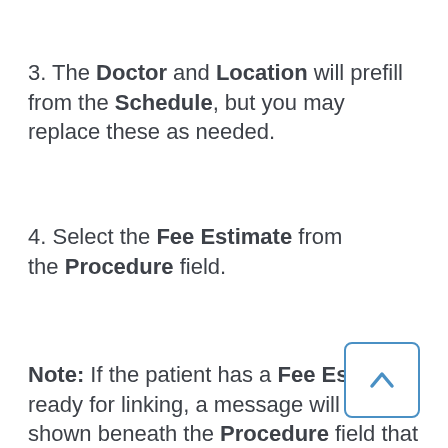3. The Doctor and Location will prefill from the Schedule, but you may replace these as needed.
4. Select the Fee Estimate from the Procedure field.
Note: If the patient has a Fee Estimate ready for linking, a message will be shown beneath the Procedure field that says, "The patient has a ..."